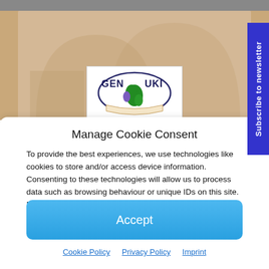[Figure (logo): GENUKI UK & Ireland genealogy website logo with map of British Isles]
Manage Cookie Consent
To provide the best experiences, we use technologies like cookies to store and/or access device information. Consenting to these technologies will allow us to process data such as browsing behaviour or unique IDs on this site. Not consenting or withdrawing consent, may adversely affect certain features and functions.
Accept
Cookie Policy  Privacy Policy  Imprint